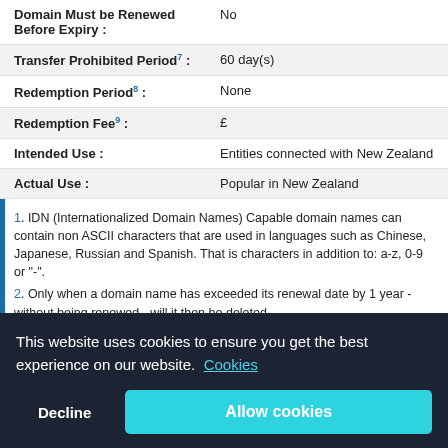| Field | Value |
| --- | --- |
| Domain Must be Renewed Before Expiry : | No |
| Transfer Prohibited Period7 : | 60 day(s) |
| Redemption Period8 : | None |
| Redemption Fee9 : | £ |
| Intended Use : | Entities connected with New Zealand |
| Actual Use : | Popular in New Zealand |
1. IDN (Internationalized Domain Names) Capable domain names can contain non ASCII characters that are used in languages such as Chinese, Japanese, Russian and Spanish. That is characters in addition to: a-z, 0-9 or "-".
2. Only when a domain name has exceeded its renewal date by 1 year - without being renewed - will it then be deleted.
3. An extra level of security is added to inter-registrar transfers; where telephone calls and physical proof of identification are required to verify the transfer.
4. If your domain name is accidentally deleted or cancelled (due to ...
This website uses cookies to ensure you get the best experience on our website. Cookies
Decline    Allow cookies